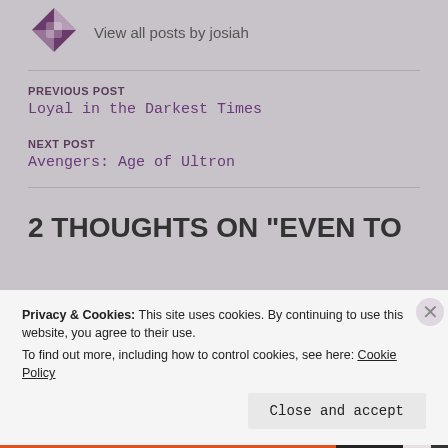[Figure (logo): Purple and white geometric avatar icon]
View all posts by josiah
PREVIOUS POST
Loyal in the Darkest Times
NEXT POST
Avengers: Age of Ultron
2 THOUGHTS ON "EVEN TO
Privacy & Cookies: This site uses cookies. By continuing to use this website, you agree to their use.
To find out more, including how to control cookies, see here: Cookie Policy
Close and accept